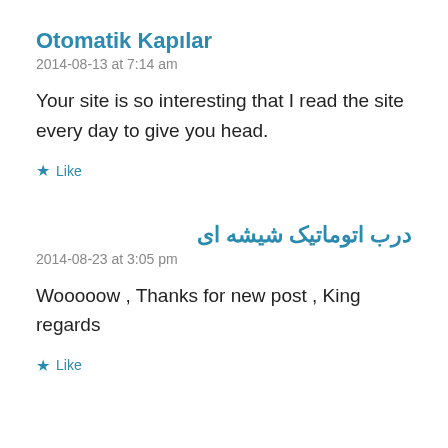Otomatik Kapılar
2014-08-13 at 7:14 am
Your site is so interesting that I read the site every day to give you head.
★ Like
درب اتوماتیک شیشه ای
2014-08-23 at 3:05 pm
Wooooow , Thanks for new post , King regards
★ Like